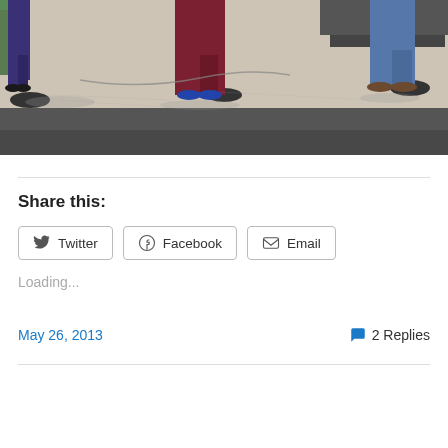[Figure (photo): Outdoor scene showing lower bodies of three people standing near vehicles on a concrete/asphalt surface. Person on left wears dark blue/purple pants, person in center wears red/maroon coveralls with blue shoes, person on right wears jeans with brown boots.]
Share this:
Twitter   Facebook   Email
Loading...
May 26, 2013
2 Replies